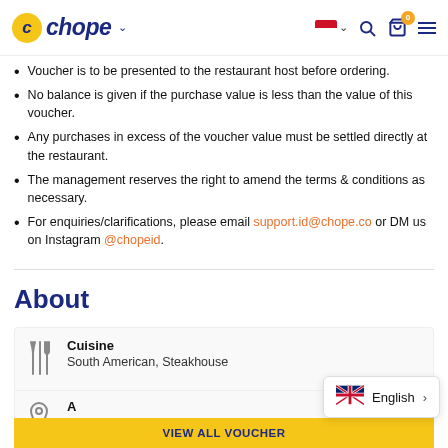Chope — restaurant reservation and dining platform
Voucher is to be presented to the restaurant host before ordering.
No balance is given if the purchase value is less than the value of this voucher.
Any purchases in excess of the voucher value must be settled directly at the restaurant.
The management reserves the right to amend the terms & conditions as necessary.
For enquiries/clarifications, please email support.id@chope.co or DM us on Instagram @chopeid.
About
| Field | Value |
| --- | --- |
| Cuisine | South American, Steakhouse |
| A[ddress] | VIEW ALL VOUCHER |
English